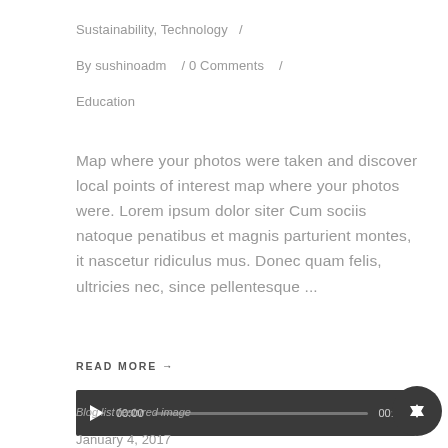Sustainability, Technology  /
By sushinoadm   / 0 Comments   /
Education
Map where your photos were taken and discover local points of interest map where your photos were. Lorem ipsum dolor siter Cum sociis natoque penatibus et magnis parturient montes, it nascetur ridiculus mus. Donec quam felis, ultricies nec, since pellentesque ...
READ MORE →
[Figure (other): Audio player bar with play button, 00:00 timestamp on left, progress bar, 00:00 on right, dark background]
Blog list featured image
January 4, 2017